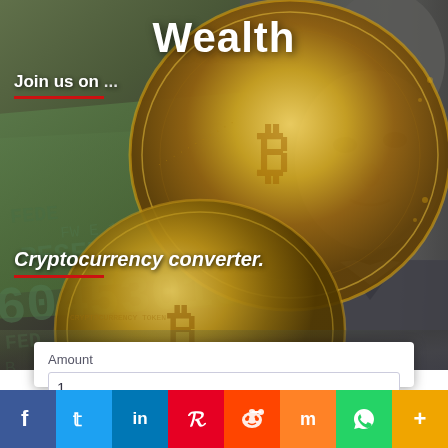[Figure (photo): Hero background image showing gold Bitcoin coins on top of US dollar bills, with Benjamin Franklin's portrait visible on the right side. Two large gold-colored Bitcoin coins are prominently featured.]
Wealth
Join us on ...
Cryptocurrency converter.
Amount
1
From
Crypto or fiat...
[Figure (infographic): Social media sharing bar at the bottom with icons for Facebook, Twitter, LinkedIn, Pinterest, Reddit, Mix, WhatsApp, and More (+)]